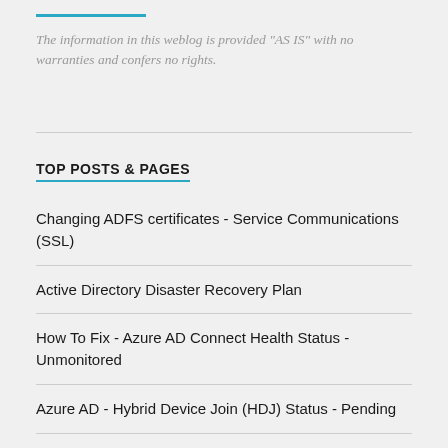The information in this weblog is provided "AS IS" with no warranties and confers no rights.
TOP POSTS & PAGES
Changing ADFS certificates - Service Communications (SSL)
Active Directory Disaster Recovery Plan
How To Fix - Azure AD Connect Health Status - Unmonitored
Azure AD - Hybrid Device Join (HDJ) Status - Pending
Azure AD Hybrid Device Join Error (0x801c03f2)